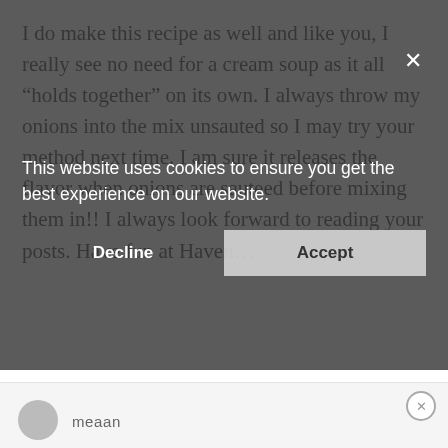I do make this recipe as well and like you, I really see no need for a cream soup as it all “holds together” on its own. I always throw my onions into the mix unsauted so I may try your method next time. I am sure it releases the flavor when onions are sauteed before mixing them in!! I always look forward to reading your posts. Have fun at Haven…
[Figure (screenshot): Cookie consent overlay with message 'This website uses cookies to ensure you get the best experience on our website.' and two buttons: Decline and Accept. An X close button is visible in the upper right of the overlay.]
Loading...
REPLY
meaan